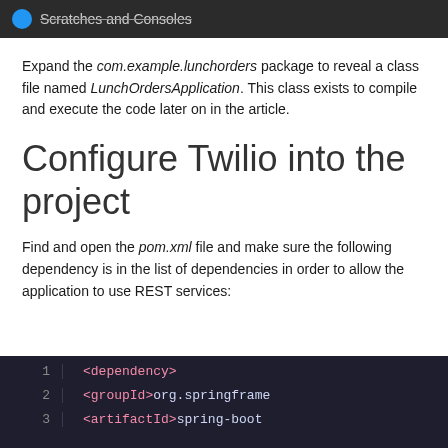Scratches and Consoles
Expand the com.example.lunchorders package to reveal a class file named LunchOrdersApplication. This class exists to compile and execute the code later on in the article.
Configure Twilio into the project
Find and open the pom.xml file and make sure the following dependency is in the list of dependencies in order to allow the application to use REST services:
[Figure (screenshot): Code block showing XML dependency snippet with line numbers 1, 2, 3. Line 1: <dependency>, Line 2: <groupId>org.springframe..., Line 3: <artifactId>spring-boot...]